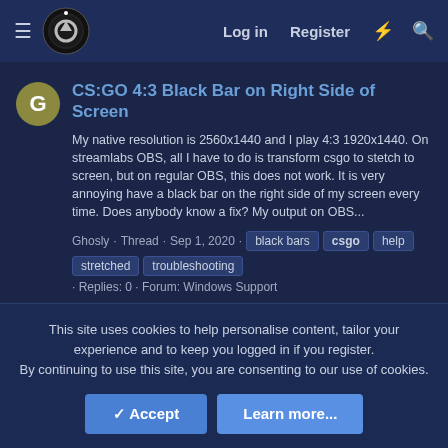Log in  Register
CS:GO 4:3 Black Bar on Right Side of Screen
My native resolution is 2560x1440 and I play 4:3 1920x1440. On streamlabs OBS, all I have to do is transform csgo to stetch to screen, but on regular OBS, this does not work. It is very annoying have a black bar on the right side of my screen every time. Does anybody know a fix? My output on OBS...
Ghosly · Thread · Sep 1, 2020 · black bars  csgo  help  stretched  troubleshooting · Replies: 0 · Forum: Windows Support
This site uses cookies to help personalise content, tailor your experience and to keep you logged in if you register.
By continuing to use this site, you are consenting to our use of cookies.